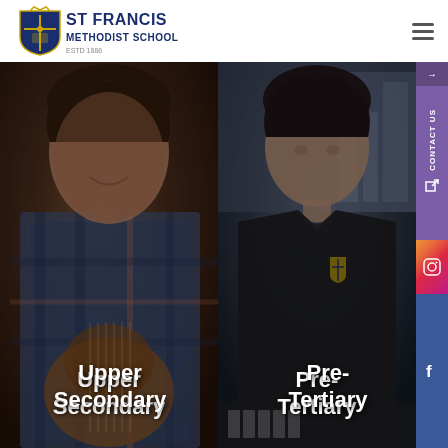[Figure (logo): St Francis Methodist School logo with crest and text]
[Figure (photo): Website screenshot of St Francis Methodist School homepage showing two panels: left panel with a student playing guitar labeled 'Upper Secondary', right panel with a student in school uniform labeled 'Pre-Tertiary', with social media sidebar buttons for Contact Us, Instagram, and Facebook]
Upper Secondary
Pre-Tertiary